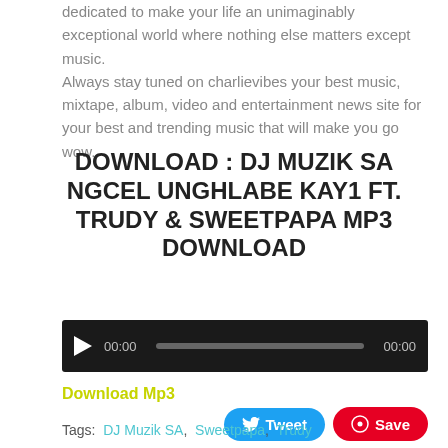dedicated to make your life an unimaginably exceptional world where nothing else matters except music. Always stay tuned on charlievibes your best music, mixtape, album, video and entertainment news site for your best and trending music that will make you go wow.
DOWNLOAD : DJ MUZIK SA NGCEL UNGHLABE KAY1 FT. TRUDY & SWEETPAPA MP3 DOWNLOAD
[Figure (other): Audio player with play button, time display 00:00, progress bar, and end time 00:00 on dark background]
Download Mp3
[Figure (other): Tweet and Save social sharing buttons]
Tags: DJ Muzik SA, Sweetpapa, Trudy